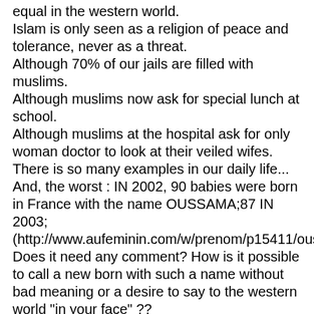equal in the western world.
Islam is only seen as a religion of peace and tolerance, never as a threat.
Although 70% of our jails are filled with muslims.
Although muslims now ask for special lunch at school.
Although muslims at the hospital ask for only woman doctor to look at their veiled wifes.
There is so many examples in our daily life...
And, the worst : IN 2002, 90 babies were born in France with the name OUSSAMA;87 IN 2003;
(http://www.aufeminin.com/w/prenom/p15411/oussama.html)
Does it need any comment? How is it possible to call a new born with such a name without bad meaning or a desire to say to the western world "in your face" ??
So all of you who are lucky enough to live in the REAL world, please be indulgent and don't think that the real French are not on your side. We are brainwashed for 30 years.
The problem is that the Quran do not accept any kind of changes since 1200 AD.
And the Quran, for about 800 years, ask to murder Jews, Christians, and atheists.
Are we all stupid enough to consider that our ancestors wo fight endless in Crusain in Nigeria 1000 years ago ...